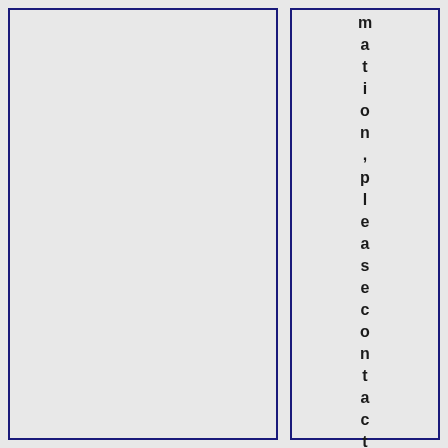mation, please contact Ms Pornapa C